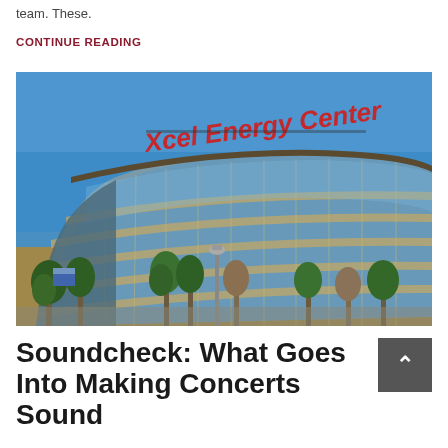team. These.
CONTINUE READING
[Figure (photo): Exterior photograph of Xcel Energy Center arena building with large red signage reading 'Xcel Energy Center', curved glass facade, blue sky background, trees in foreground]
Soundcheck: What Goes Into Making Concerts Sound